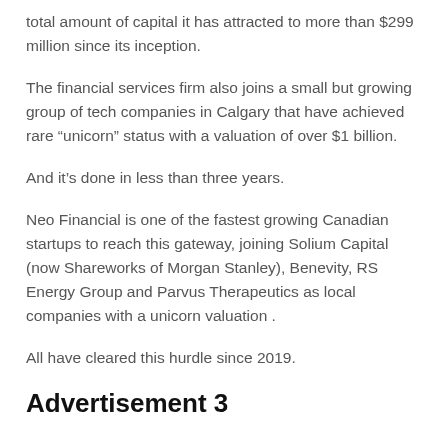total amount of capital it has attracted to more than $299 million since its inception.
The financial services firm also joins a small but growing group of tech companies in Calgary that have achieved rare “unicorn” status with a valuation of over $1 billion.
And it’s done in less than three years.
Neo Financial is one of the fastest growing Canadian startups to reach this gateway, joining Solium Capital (now Shareworks of Morgan Stanley), Benevity, RS Energy Group and Parvus Therapeutics as local companies with a unicorn valuation .
All have cleared this hurdle since 2019.
Advertisement 3